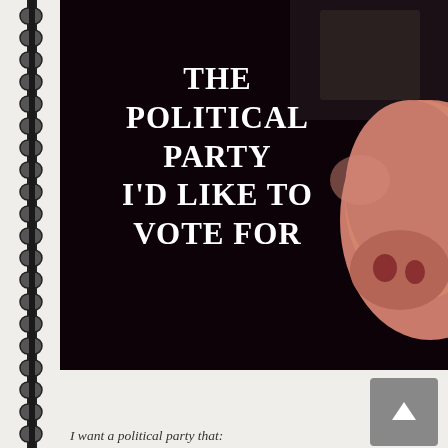[Figure (photo): A dark background with a pig snout visible on the right side. White serif text overlaid reads: THE POLITICAL PARTY I'D LIKE TO VOTE FOR. Below the image is a light gray/white area with a gray up-arrow button on the right and partial text at the bottom reading 'I want a political party that:']
THE POLITICAL PARTY I'D LIKE TO VOTE FOR
I want a political party that: